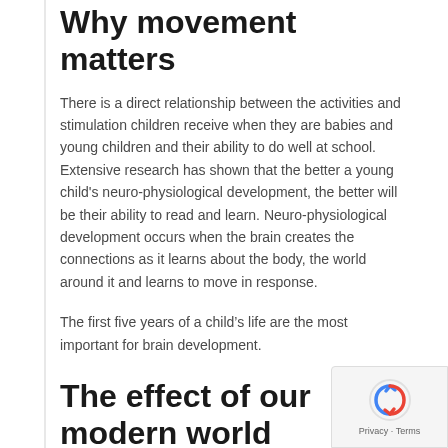Why movement matters
There is a direct relationship between the activities and stimulation children receive when they are babies and young children and their ability to do well at school. Extensive research has shown that the better a young child's neuro-physiological development, the better will be their ability to read and learn. Neuro-physiological development occurs when the brain creates the connections as it learns about the body, the world around it and learns to move in response.
The first five years of a child’s life are the most important for brain development.
The effect of our modern world
Times have changed. Today many of the key opportunities that in the past encouraged ‘natural’ development are no longer available to children. As a result of interferences that